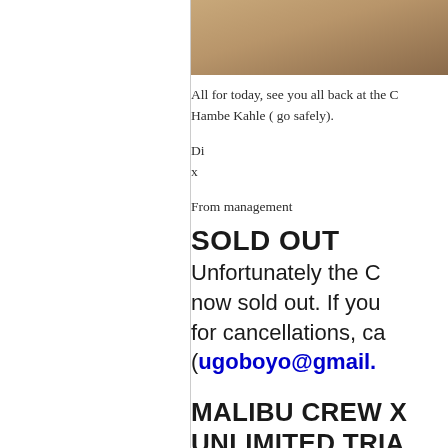[Figure (photo): Partial photo strip at top of right column showing a sandy/tan colored texture or surface, cropped]
All for today, see you all back at the C Hambe Kahle ( go safely).
Di
x
From management
SOLD OUT
Unfortunately the C now sold out. If you for cancellations, ca (ugoboyo@gmail.c
MALIBU CREW X UNLIMITED TRIA